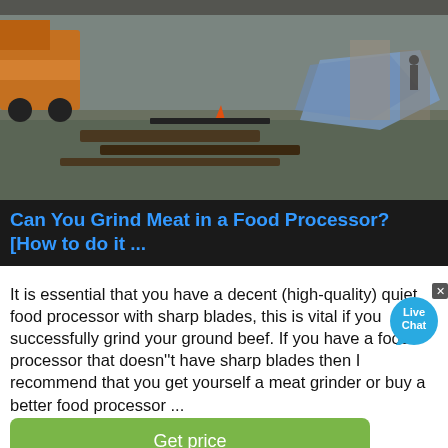[Figure (photo): Construction site photo showing wooden beams on ground, a crane/truck on the left, and tarps or coverings, taken in an outdoor urban setting.]
Can You Grind Meat in a Food Processor? [How to do it ...
It is essential that you have a decent (high-quality) quiet food processor with sharp blades, this is vital if you want to successfully grind your ground beef. If you have a food processor that doesn''t have sharp blades then I recommend that you get yourself a meat grinder or buy a better food processor ...
[Figure (other): Live Chat speech bubble overlay widget with X close button, light blue circular bubble with 'Live Chat' text in white.]
[Figure (photo): Outdoor construction or industrial site photo showing a crane arm with cables on the left, mountains in the background, and machinery on the right side.]